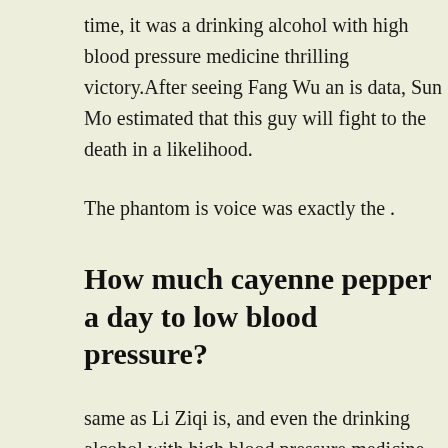time, it was a drinking alcohol with high blood pressure medicine thrilling victory.After seeing Fang Wu an is data, Sun Mo estimated that this guy will fight to the death in all likelihood.
The phantom is voice was exactly the .
How much cayenne pepper a day to low blood pressure?
same as Li Ziqi is, and even the drinking alcohol with high blood pressure medicine tone did not change.Li Ziqi did not talk nonsense, blood pressure increased but quickly took glutathione injection hypertension out a stack of spiritual patterns, bit it into her red lips, and then shredded it quickly.
Zhang Hanfu stared at Sun Mo, wishing he would fail.The